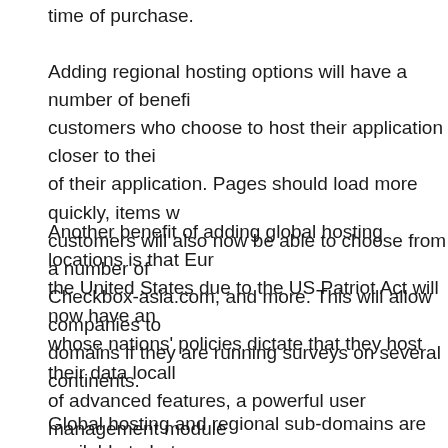time of purchase.
Adding regional hosting options will have a number of benefits for customers who choose to host their application closer to their of their application. Pages should load more quickly, items w customers will also now be able to choose from a number of Checkbox-asia.com, and more. This will allow companies to domains if they are running surveys on several continents.
Another benefit of adding global hosting locations is that Eur the United States due to the US Patriot Act will now have an whose nations' policies dictate that they host their data locall of advanced features, a powerful user management module organizations, and many security settings not found in comp Checkbox is able to give another option to European, Asian, survey and feedback tool.
Global hosting and regional sub-domains are available to bot